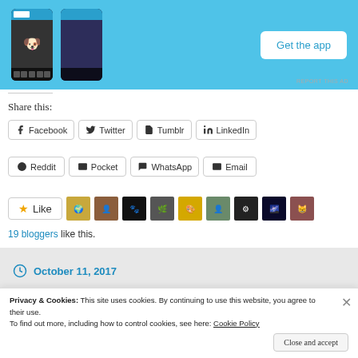[Figure (screenshot): App advertisement with blue background showing a phone screenshot and a 'Get the app' button]
REPORT THIS AD
Share this:
Facebook | Twitter | Tumblr | LinkedIn | Reddit | Pocket | WhatsApp | Email
Like  [avatars]  19 bloggers like this.
October 11, 2017
Privacy & Cookies: This site uses cookies. By continuing to use this website, you agree to their use.
To find out more, including how to control cookies, see here: Cookie Policy
Close and accept